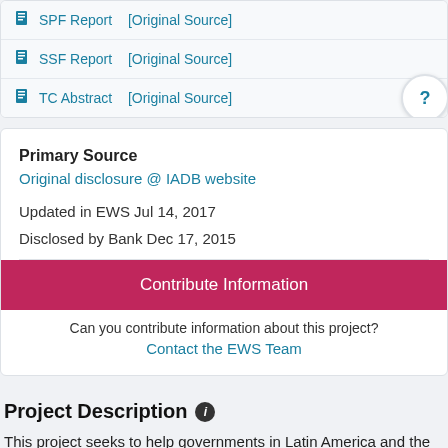SPF Report [Original Source]
SSF Report [Original Source]
TC Abstract [Original Source]
Primary Source
Original disclosure @ IADB website
Updated in EWS Jul 14, 2017
Disclosed by Bank Dec 17, 2015
Contribute Information
Can you contribute information about this project?
Contact the EWS Team
Project Description
This project seeks to help governments in Latin America and the